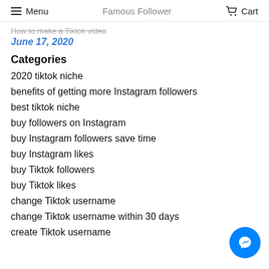Menu | Famous Follower | Cart
How to make a Tiktok video
June 17, 2020
Categories
2020 tiktok niche
benefits of getting more Instagram followers
best tiktok niche
buy followers on Instagram
buy Instagram followers save time
buy Instagram likes
buy Tiktok followers
buy Tiktok likes
change Tiktok username
change Tiktok username within 30 days
create Tiktok username